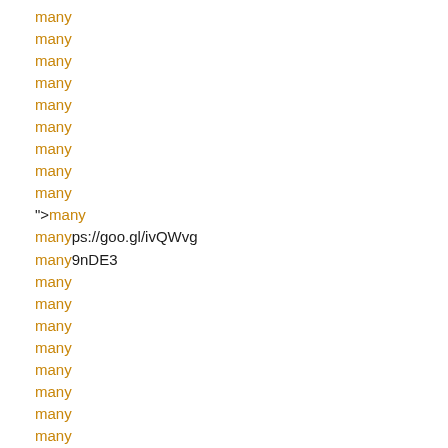many
many
many
many
many
many
many
many
many
">many
manyps://goo.gl/ivQWvg
many9nDE3
many
many
many
many
many
many
many
many
many
many
many
many
many
many
many
many